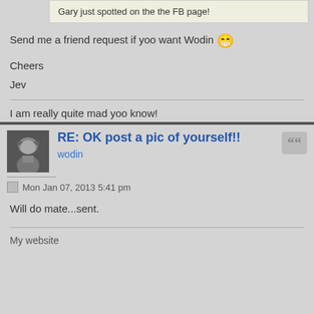Gary just spotted on the the FB page!
Send me a friend request if yoo want Wodin 😁
Cheers
Jev
I am really quite mad yoo know!
RE: OK post a pic of yourself!!
wodin
Mon Jan 07, 2013 5:41 pm
Will do mate...sent.
My website